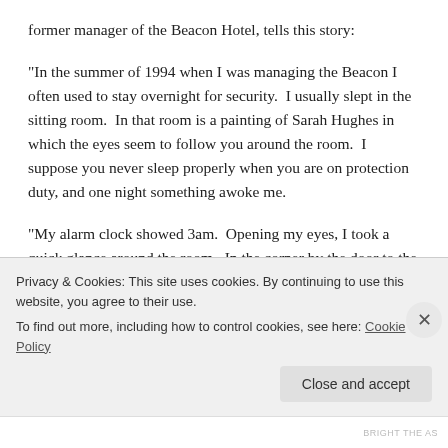former manager of the Beacon Hotel, tells this story:
“In the summer of 1994 when I was managing the Beacon I often used to stay overnight for security.  I usually slept in the sitting room.  In that room is a painting of Sarah Hughes in which the eyes seem to follow you around the room.  I suppose you never sleep properly when you are on protection duty, and one night something awoke me.
“My alarm clock showed 3am.  Opening my eyes, I took a quick glance around the room.  In the corner by the door to the passage stood a figure.  After a couple of seconds I realised they had not broken into the pub or the alarms would be shrieking.
“I don’t know how long I looked at the figure.  It was a man in his 50s...
Privacy & Cookies: This site uses cookies. By continuing to use this website, you agree to their use.
To find out more, including how to control cookies, see here: Cookie Policy
Close and accept